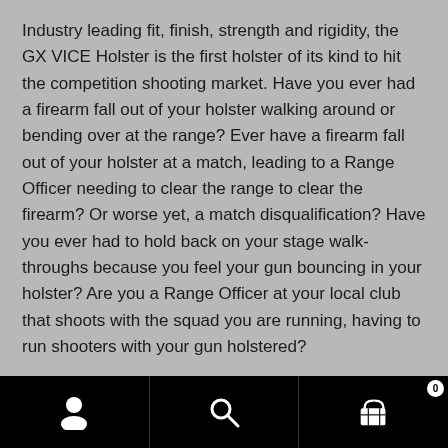Industry leading fit, finish, strength and rigidity, the GX VICE Holster is the first holster of its kind to hit the competition shooting market. Have you ever had a firearm fall out of your holster walking around or bending over at the range? Ever have a firearm fall out of your holster at a match, leading to a Range Officer needing to clear the range to clear the firearm? Or worse yet, a match disqualification? Have you ever had to hold back on your stage walk-throughs because you feel your gun bouncing in your holster? Are you a Range Officer at your local club that shoots with the squad you are running, having to run shooters with your gun holstered?
If you answered yes to any of the above questions (and I
[Figure (screenshot): Mobile app bottom navigation bar with three icons: person/account icon on the left, search magnifying glass icon in the center, and shopping cart icon with badge showing '0' on the right. Black background.]